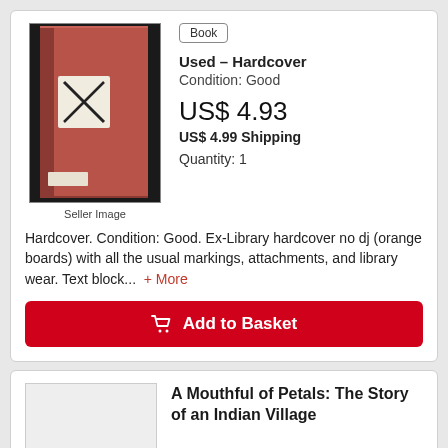[Figure (photo): Red/orange hardcover book spine, standing upright, with a white label on the spine showing a stylized X mark, dark background behind the book]
Seller Image
Book
Used – Hardcover
Condition: Good
US$ 4.93
US$ 4.99 Shipping
Quantity: 1
Hardcover. Condition: Good. Ex-Library hardcover no dj (orange boards) with all the usual markings, attachments, and library wear. Text block... + More
Add to Basket
A Mouthful of Petals: The Story of an Indian Village